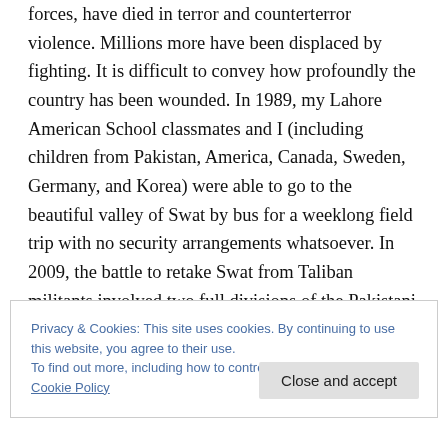forces, have died in terror and counterterror violence. Millions more have been displaced by fighting. It is difficult to convey how profoundly the country has been wounded. In 1989, my Lahore American School classmates and I (including children from Pakistan, America, Canada, Sweden, Germany, and Korea) were able to go to the beautiful valley of Swat by bus for a weeklong field trip with no security arrangements whatsoever. In 2009, the battle to retake Swat from Taliban militants involved two full divisions of the Pakistani army and hundreds of casualties among Pakistani soldiers. (Similarly, until a few
Privacy & Cookies: This site uses cookies. By continuing to use this website, you agree to their use.
To find out more, including how to control cookies, see here: Cookie Policy
Close and accept